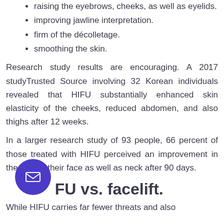raising the eyebrows, cheeks, as well as eyelids.
improving jawline interpretation.
firm of the décolletage.
smoothing the skin.
Research study results are encouraging. A 2017 studyTrusted Source involving 32 Korean individuals revealed that HIFU substantially enhanced skin elasticity of the cheeks, reduced abdomen, and also thighs after 12 weeks.
In a larger research study of 93 people, 66 percent of those treated with HIFU perceived an improvement in the look of their face as well as neck after 90 days.
HIFU vs. facelift.
While HIFU carries far fewer threats and also